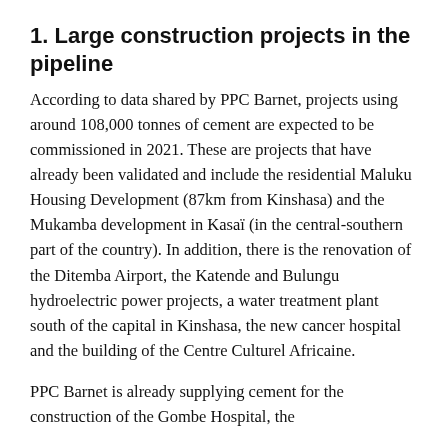1. Large construction projects in the pipeline
According to data shared by PPC Barnet, projects using around 108,000 tonnes of cement are expected to be commissioned in 2021. These are projects that have already been validated and include the residential Maluku Housing Development (87km from Kinshasa) and the Mukamba development in Kasaï (in the central-southern part of the country). In addition, there is the renovation of the Ditemba Airport, the Katende and Bulungu hydroelectric power projects, a water treatment plant south of the capital in Kinshasa, the new cancer hospital and the building of the Centre Culturel Africaine.
PPC Barnet is already supplying cement for the construction of the Gombe Hospital, the